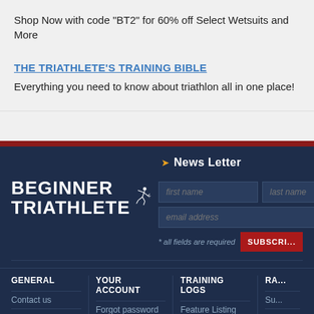Shop Now with code "BT2" for 60% off Select Wetsuits and More
THE TRIATHLETE'S TRAINING BIBLE
Everything you need to know about triathlon all in one place!
[Figure (logo): Beginner Triathlete logo with white stick figure runner on dark navy background]
News Letter
first name | last name | email address | * all fields are required | SUBSCRIBE
GENERAL
Contact us
Advertising
YOUR ACCOUNT
Forgot password
Can't login
TRAINING LOGS
Feature Listing
Mobile version
RA...